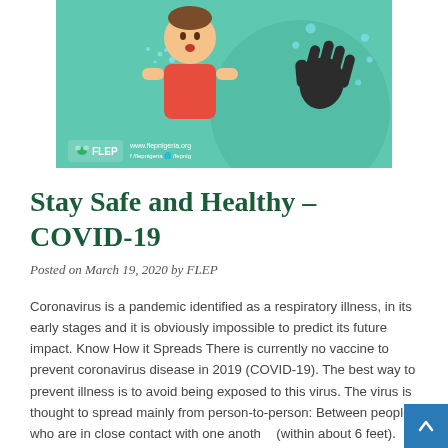[Figure (illustration): FLEP-branded health banner showing a cartoon person coughing/sneezing and a hand with virus droplets on a teal/green background. Includes FLEP logo and website www.flepnigeria.org]
Stay Safe and Healthy – COVID-19
Posted on March 19, 2020 by FLEP
Coronavirus is a pandemic identified as a respiratory illness, in its early stages and it is obviously impossible to predict its future impact. Know How it Spreads There is currently no vaccine to prevent coronavirus disease in 2019 (COVID-19). The best way to prevent illness is to avoid being exposed to this virus. The virus is thought to spread mainly from person-to-person: Between people who are in close contact with one another (within about 6 feet). Respiratory droplets produced when an infected person coughs or sneezes. These droplets can land in the mouths or noses of people who are nearby or possibly be